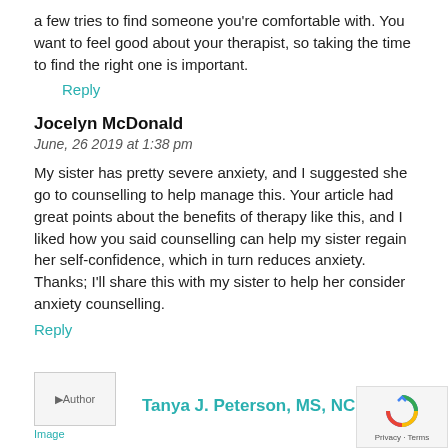a few tries to find someone you're comfortable with. You want to feel good about your therapist, so taking the time to find the right one is important.
Reply
Jocelyn McDonald
June, 26 2019 at 1:38 pm
My sister has pretty severe anxiety, and I suggested she go to counselling to help manage this. Your article had great points about the benefits of therapy like this, and I liked how you said counselling can help my sister regain her self-confidence, which in turn reduces anxiety. Thanks; I'll share this with my sister to help her consider anxiety counselling.
Reply
Tanya J. Peterson, MS, NCC